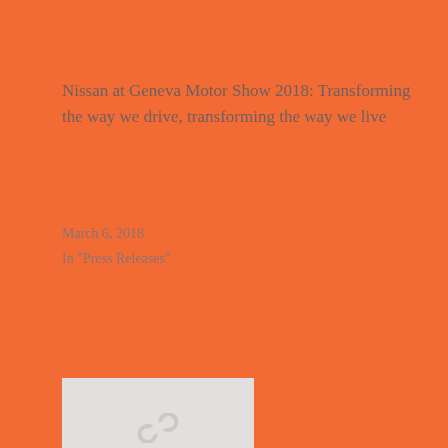Nissan at Geneva Motor Show 2018: Transforming the way we drive, transforming the way we live
March 6, 2018
In "Press Releases"
[Figure (other): Light gray rectangle with a chain/link icon in the center]
Posted in Car Reviews
Tagged Pricing